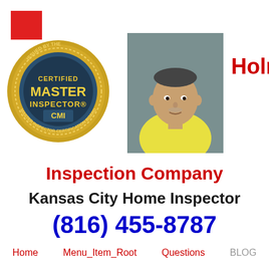[Figure (logo): Red square logo placeholder in top-left corner]
[Figure (illustration): Certified Master Inspector (CMI) gold seal badge issued by the Master Inspector Certification Board]
[Figure (photo): Headshot photo of a middle-aged man wearing a yellow polo shirt]
Holmes
Inspection Company
Kansas City Home Inspector
(816) 455-8787
Home   Menu_Item_Root   Questions   BLOG